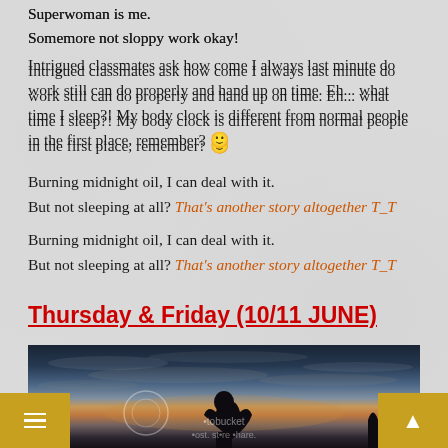Superwoman is me.
Somemore not sloppy work okay!
Intrigued classmates ask how come I always last minute do work still can do properly and hand up on time. Eh... what time I sleep?! My body clock is different from normal people in the first place, remember? 🙂
Burning midnight oil, I can deal with it.
But not sleeping at all? That's another story altogether T_T
Thursday & Friday (10/11 JUNE)
[Figure (photo): Silhouette photo of a person making a heart shape with their hands against a dramatic sunset/twilight sky with clouds. Photobucket watermark visible.]